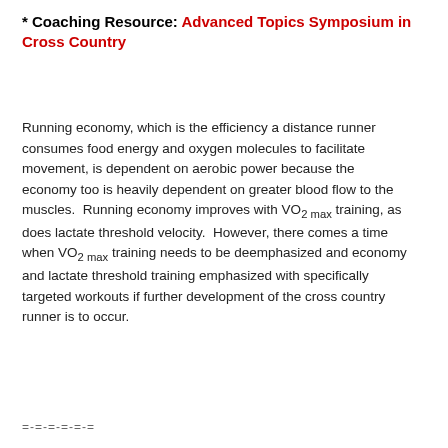* Coaching Resource: Advanced Topics Symposium in Cross Country
Running economy, which is the efficiency a distance runner consumes food energy and oxygen molecules to facilitate movement, is dependent on aerobic power because the economy too is heavily dependent on greater blood flow to the muscles.  Running economy improves with VO2 max training, as does lactate threshold velocity.  However, there comes a time when VO2 max training needs to be deemphasized and economy and lactate threshold training emphasized with specifically targeted workouts if further development of the cross country runner is to occur.
=-=-=-=-=-=